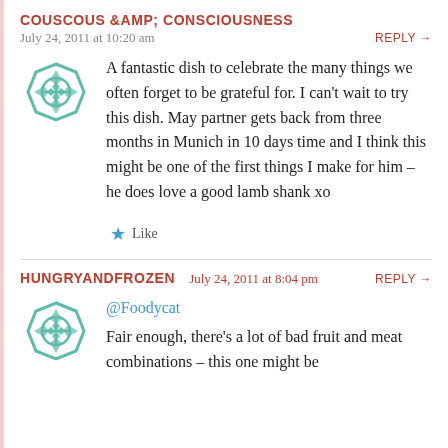COUSCOUS &AMP; CONSCIOUSNESS
July 24, 2011 at 10:20 am
REPLY →
A fantastic dish to celebrate the many things we often forget to be grateful for. I can't wait to try this dish. May partner gets back from three months in Munich in 10 days time and I think this might be one of the first things I make for him – he does love a good lamb shank xo
Like
HUNGRYANDFROZEN
July 24, 2011 at 8:04 pm
REPLY →
@Foodycat
Fair enough, there's a lot of bad fruit and meat combinations – this one might be